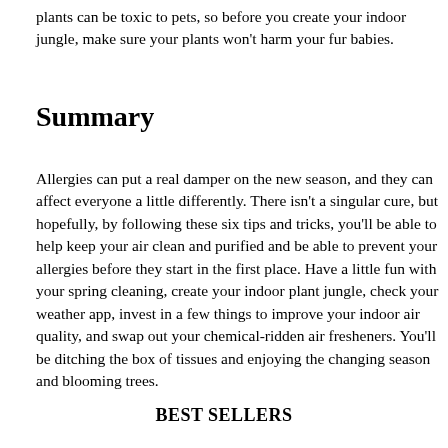plants can be toxic to pets, so before you create your indoor jungle, make sure your plants won't harm your fur babies.
Summary
Allergies can put a real damper on the new season, and they can affect everyone a little differently. There isn't a singular cure, but hopefully, by following these six tips and tricks, you'll be able to help keep your air clean and purified and be able to prevent your allergies before they start in the first place. Have a little fun with your spring cleaning, create your indoor plant jungle, check your weather app, invest in a few things to improve your indoor air quality, and swap out your chemical-ridden air fresheners. You'll be ditching the box of tissues and enjoying the changing season and blooming trees.
BEST SELLERS